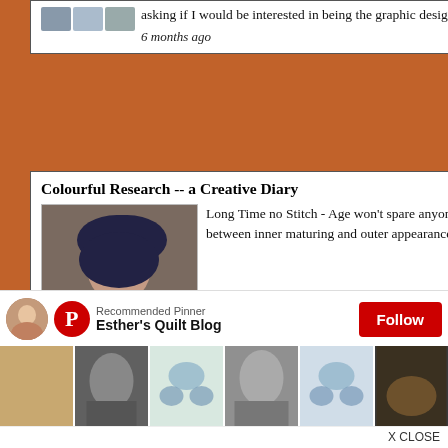asking if I would be interested in being the graphic designer for a book project ...
6 months ago
Colourful Research -- a Creative Diary
Long Time no Stitch - Age won't spare anyone, though we may fight it on the surface; yet, the harmony between inner maturing and outer appearance needs to be kept if we don'...
6 months ago
Cupcakes 'n Daisies
Readin' & Writin' & 'Rithmetic - I finished this quilt on April 21, 2021. I changed the Thimble Creek pattern by updating the
7 m...
[Figure (screenshot): Pinterest recommended pinner overlay with avatar, logo, text 'Recommended Pinner / Esther's Quilt Blog', a red Follow button, a strip of thumbnail images, and an X CLOSE button]